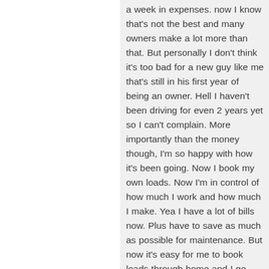a week in expenses. now I know that's not the best and many owners make a lot more than that. But personally I don't think it's too bad for a new guy like me that's still in his first year of being an owner. Hell I haven't been driving for even 2 years yet so I can't complain. More importantly than the money though, I'm so happy with how it's been going. Now I book my own loads. Now I'm in control of how much I work and how much I make. Yea I have a lot of bills now. Plus have to save as much as possible for maintenance. But now it's easy for me to book loads through home and I go home 2-3 nights a week. I don't